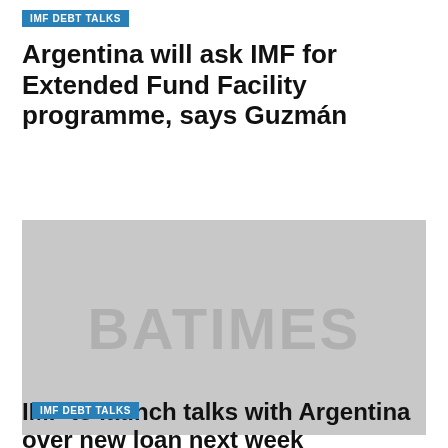IMF DEBT TALKS
Argentina will ask IMF for Extended Fund Facility programme, says Guzmán
[Figure (photo): Grey placeholder image with BATIMES watermark text]
IMF DEBT TALKS
IMF to launch talks with Argentina over new loan next week